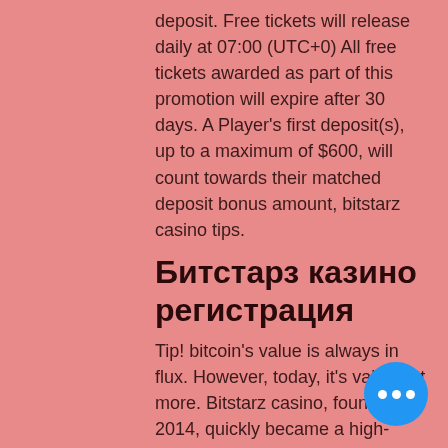deposit. Free tickets will release daily at 07:00 (UTC+0) All free tickets awarded as part of this promotion will expire after 30 days. A Player's first deposit(s), up to a maximum of $600, will count towards their matched deposit bonus amount, bitstarz casino tips.
Битстарз казино регистрация
Tip! bitcoin's value is always in flux. However, today, it's valued at more. Bitstarz casino, founded in 2014, quickly became a high-ranking bitcoin casino with a large gaming collection 슬롯 머신 카지노 게임, fast payouts and. Bitstarz casino – this business has been around for a very long time, and in their lifespan, they were able to host different variations of slot machine. If you like to approach your gambling with more of a strategy.. Start playing at online casinos like